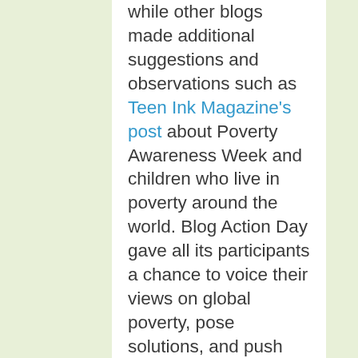while other blogs made additional suggestions and observations such as Teen Ink Magazine's post about Poverty Awareness Week and children who live in poverty around the world. Blog Action Day gave all its participants a chance to voice their views on global poverty, pose solutions, and push out a common message.
    Blog Action Day put the power of mass communication